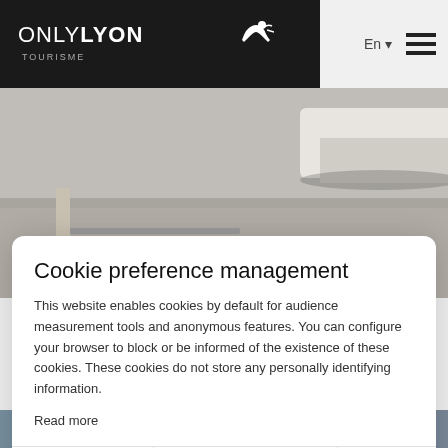ONLY LYON TOURISME | En | menu
[Figure (photo): Photo of a cobblestone street with a white car, Lyon city scene]
Lyon City Tram
Lyon City Tram, destination Croix-Rousse! Discover this unusual area with a touristic train. A guided tour of about 1
Cookie preference management
This website enables cookies by default for audience measurement tools and anonymous features. You can configure your browser to block or be informed of the existence of these cookies. These cookies do not store any personally identifying information.
Read more
No thanks | I want to choose | OK!
[Figure (photo): Bottom strip photo, partially visible]